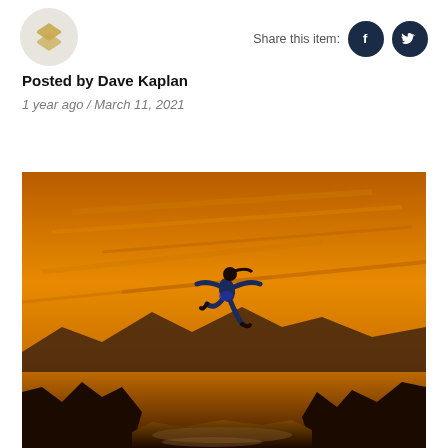[Figure (logo): Gold geometric chevron/arrow logo on a light grey circular background]
Share this item:
[Figure (other): Dark navy circular Facebook social share button with white 'f' icon]
[Figure (other): Dark navy circular Twitter social share button with white bird icon]
Posted by Dave Kaplan
1 year ago / March 11, 2021
[Figure (photo): A person leaping dramatically across a rocky gap against a vivid orange and gold sunset sky, with rocky cliffs below and mountains in the background]